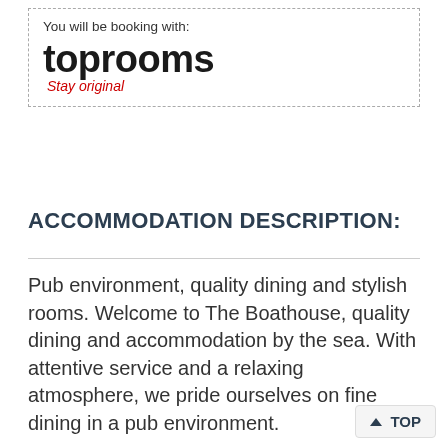You will be booking with:
[Figure (logo): toprooms logo with tagline 'Stay original']
ACCOMMODATION DESCRIPTION:
Pub environment, quality dining and stylish rooms. Welcome to The Boathouse, quality dining and accommodation by the sea. With attentive service and a relaxing atmosphere, we pride ourselves on fine dining in a pub environment.
We have an extensive wine selection and superb real ales, you can enjoy a chill glass of wine in the bar area or in the patio